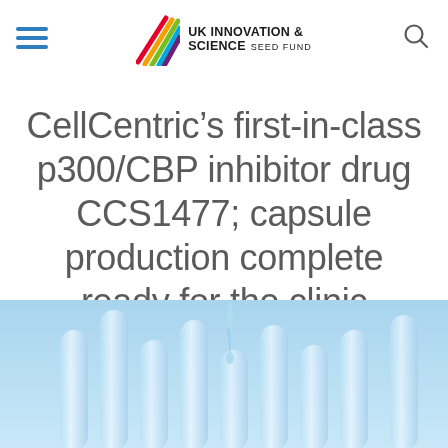UK INNOVATION & SCIENCE SEED FUND
CellCentric’s first-in-class p300/CBP inhibitor drug CCS1477; capsule production complete ready for the clinic
[Figure (photo): Laboratory test tubes with a pipette dropping liquid, blue-toned photo]